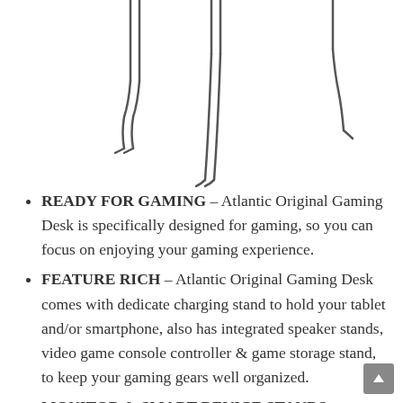[Figure (illustration): Line drawing illustration of a gaming desk with legs and accessories visible at the top of the page]
READY FOR GAMING – Atlantic Original Gaming Desk is specifically designed for gaming, so you can focus on enjoying your gaming experience.
FEATURE RICH – Atlantic Original Gaming Desk comes with dedicate charging stand to hold your tablet and/or smartphone, also has integrated speaker stands, video game console controller & game storage stand, to keep your gaming gears well organized.
MONITOR & SMART DEVICE STANDS – Elevated monitor stand measures 6” (H) x 7” (W) x 22” (L)